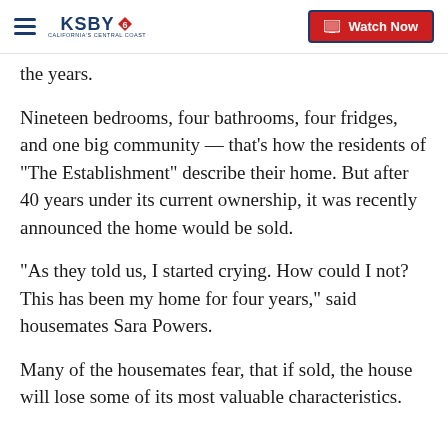KSBY California's Central Coast | Watch Now
the years.
Nineteen bedrooms, four bathrooms, four fridges, and one big community — that's how the residents of "The Establishment" describe their home. But after 40 years under its current ownership, it was recently announced the home would be sold.
“As they told us, I started crying. How could I not? This has been my home for four years," said housemates Sara Powers.
Many of the housemates fear, that if sold, the house will lose some of its most valuable characteristics.